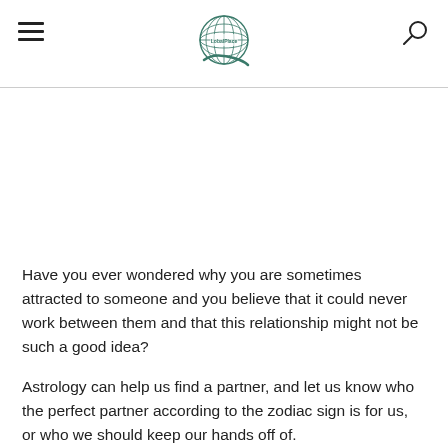Navigation header with hamburger menu, logo, and search icon
Have you ever wondered why you are sometimes attracted to someone and you believe that it could never work between them and that this relationship might not be such a good idea?
Astrology can help us find a partner, and let us know who the perfect partner according to the zodiac sign is for us, or who we should keep our hands off of.